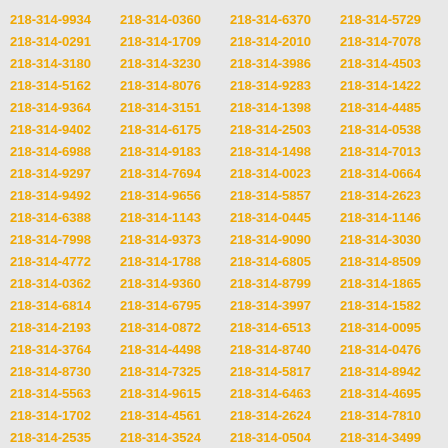218-314-9934 218-314-0360 218-314-6370 218-314-5729 218-314-0291 218-314-1709 218-314-2010 218-314-7078 218-314-3180 218-314-3230 218-314-3986 218-314-4503 218-314-5162 218-314-8076 218-314-9283 218-314-1422 218-314-9364 218-314-3151 218-314-1398 218-314-4485 218-314-9402 218-314-6175 218-314-2503 218-314-0538 218-314-6988 218-314-9183 218-314-1498 218-314-7013 218-314-9297 218-314-7694 218-314-0023 218-314-0664 218-314-9492 218-314-9656 218-314-5857 218-314-2623 218-314-6388 218-314-1143 218-314-0445 218-314-1146 218-314-7998 218-314-9373 218-314-9090 218-314-3030 218-314-4772 218-314-1788 218-314-6805 218-314-8509 218-314-0362 218-314-9360 218-314-8799 218-314-1865 218-314-6814 218-314-6795 218-314-3997 218-314-1582 218-314-2193 218-314-0872 218-314-6513 218-314-0095 218-314-3764 218-314-4498 218-314-8740 218-314-0476 218-314-8730 218-314-7325 218-314-5817 218-314-8942 218-314-5563 218-314-9615 218-314-6463 218-314-4695 218-314-1702 218-314-4561 218-314-2624 218-314-7810 218-314-2535 218-314-3524 218-314-0504 218-314-3499 218-314-9848 218-314-2085 218-314-1144 218-314-8475 218-314-3410 218-314-8995 218-314-0144 218-314-0737 218-314-6385 218-314-2408 218-314-6294 218-314-2181 218-314-1932 218-314-1449 218-314-3589 218-314-5477 218-314-3926 218-314-6144 218-314-0284 218-314-8815 218-314-5187 218-314-8938 218-314-9910 218-314-2636 218-314-4744 218-314-4314 218-314-6699 218-314-5976 218-314-6281 218-314-5781 218-314-3200 218-314-5038 218-314-7276 218-314-6516 218-314-3892 218-314-7401 218-314-6589 218-314-8568 218-314-4474 218-314-4033